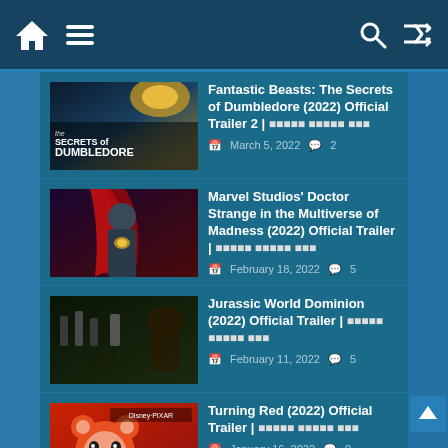Home | Menu | Search | Shuffle
Fantastic Beasts: The Secrets of Dumbledore (2022) Official Trailer 2 | हिंदी ट्रेलर हब | March 5, 2022 | 2 comments
Marvel Studios' Doctor Strange in the Multiverse of Madness (2022) Official Trailer | हिंदी ट्रेलर हब | February 18, 2022 | 5 comments
Jurassic World Dominion (2022) Official Trailer | हिंदी ट्रेलर हब | February 11, 2022 | 5 comments
Turning Red (2022) Official Trailer | हिंदी ट्रेलर हब | January 16, 2022 | 0 comments